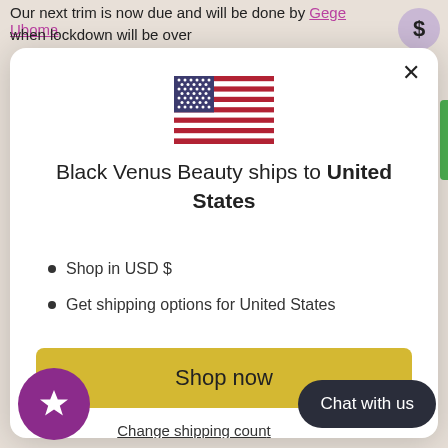Our next trim is now due and will be done by Gege Uboma when lockdown will be over
[Figure (screenshot): Modal dialog showing US flag and shipping information for Black Venus Beauty]
Black Venus Beauty ships to United States
Shop in USD $
Get shipping options for United States
Shop now
Change shipping country
Chat with us